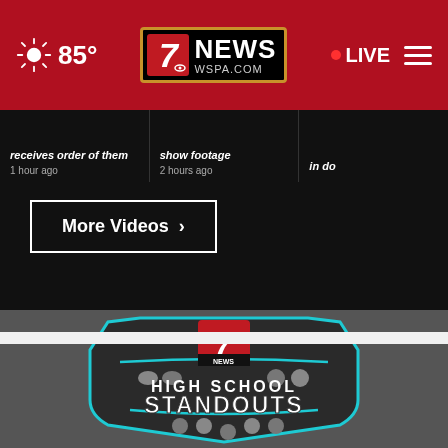7 NEWS WSPA.COM | 85° | LIVE
receives order of them  1 hour ago
show footage  2 hours ago
More Videos ▶
[Figure (logo): 7 News High School Standouts logo on dark background with sports icons]